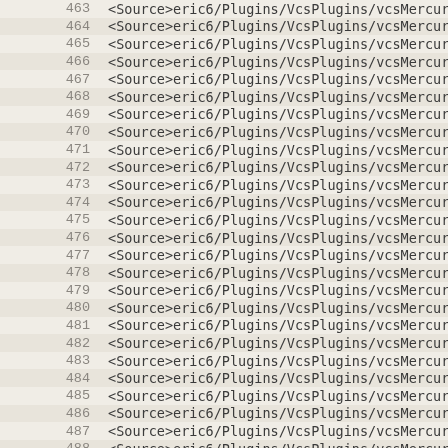463  <Source>eric6/Plugins/VcsPlugins/vcsMercuri
464  <Source>eric6/Plugins/VcsPlugins/vcsMercuri
465  <Source>eric6/Plugins/VcsPlugins/vcsMercuri
466  <Source>eric6/Plugins/VcsPlugins/vcsMercuri
467  <Source>eric6/Plugins/VcsPlugins/vcsMercuri
468  <Source>eric6/Plugins/VcsPlugins/vcsMercuri
469  <Source>eric6/Plugins/VcsPlugins/vcsMercuri
470  <Source>eric6/Plugins/VcsPlugins/vcsMercuri
471  <Source>eric6/Plugins/VcsPlugins/vcsMercuri
472  <Source>eric6/Plugins/VcsPlugins/vcsMercuri
473  <Source>eric6/Plugins/VcsPlugins/vcsMercuri
474  <Source>eric6/Plugins/VcsPlugins/vcsMercuri
475  <Source>eric6/Plugins/VcsPlugins/vcsMercuri
476  <Source>eric6/Plugins/VcsPlugins/vcsMercuri
477  <Source>eric6/Plugins/VcsPlugins/vcsMercuri
478  <Source>eric6/Plugins/VcsPlugins/vcsMercuri
479  <Source>eric6/Plugins/VcsPlugins/vcsMercuri
480  <Source>eric6/Plugins/VcsPlugins/vcsMercuri
481  <Source>eric6/Plugins/VcsPlugins/vcsMercuri
482  <Source>eric6/Plugins/VcsPlugins/vcsMercuri
483  <Source>eric6/Plugins/VcsPlugins/vcsMercuri
484  <Source>eric6/Plugins/VcsPlugins/vcsMercuri
485  <Source>eric6/Plugins/VcsPlugins/vcsMercuri
486  <Source>eric6/Plugins/VcsPlugins/vcsMercuri
487  <Source>eric6/Plugins/VcsPlugins/vcsMercuri
488  <Source>eric6/Plugins/VcsPlugins/vcsMercuri
489  <Source>eric6/Plugins/VcsPlugins/vcsMercuri